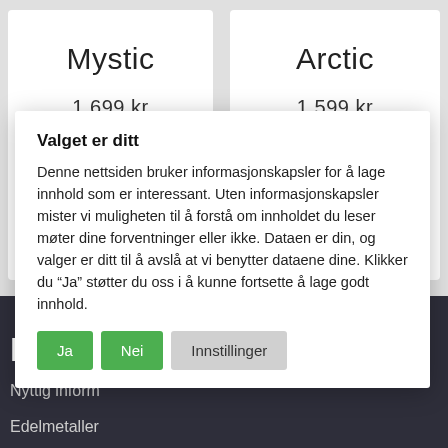Mystic
1699 kr
Arctic
1599 kr
Bloggka
Nyttig inform
Edelmetaller
Valget er ditt
Denne nettsiden bruker informasjonskapsler for å lage innhold som er interessant. Uten informasjonskapsler mister vi muligheten til å forstå om innholdet du leser møter dine forventninger eller ikke. Dataen er din, og valger er ditt til å avslå at vi benytter dataene dine. Klikker du "Ja" støtter du oss i å kunne fortsette å lage godt innhold.
Ja
Nei
Innstillinger